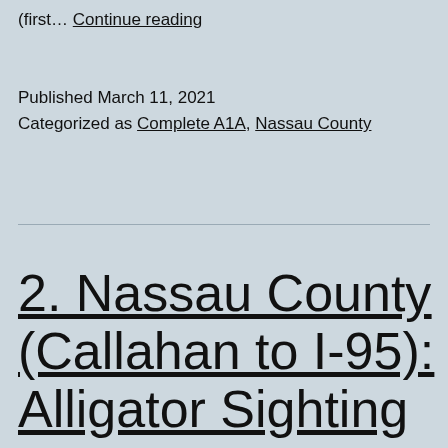(first… Continue reading
Published March 11, 2021
Categorized as Complete A1A, Nassau County
2. Nassau County (Callahan to I-95): Alligator Sighting Ahead